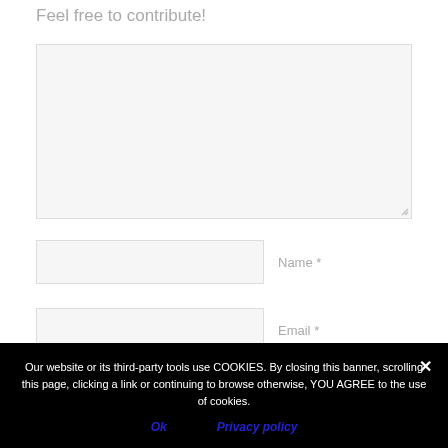Feel free to contribute!
[Figure (screenshot): Large text area input box with resize handle in bottom-right corner, light gray background]
Name *
[Figure (screenshot): Name input field, light gray background]
Email *
[Figure (screenshot): Email input field, light gray background]
Our website or its third-party tools use COOKIES. By closing this banner, scrolling this page, clicking a link or continuing to browse otherwise, YOU AGREE to the use of cookies.
Ok
Privacy policy